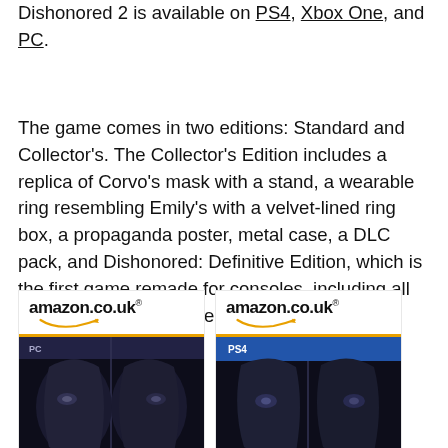Dishonored 2 is available on PS4, Xbox One, and PC.
The game comes in two editions: Standard and Collector's. The Collector's Edition includes a replica of Corvo's mask with a stand, a wearable ring resembling Emily's with a velvet-lined ring box, a propaganda poster, metal case, a DLC pack, and Dishonored: Definitive Edition, which is the first game remade for consoles, including all DLC from the first game.
[Figure (screenshot): Amazon.co.uk product listing image for Dishonored 2 PC version]
[Figure (screenshot): Amazon.co.uk product listing image for Dishonored 2 PS4 version]
Dishonored 2...
Dishonored 2...